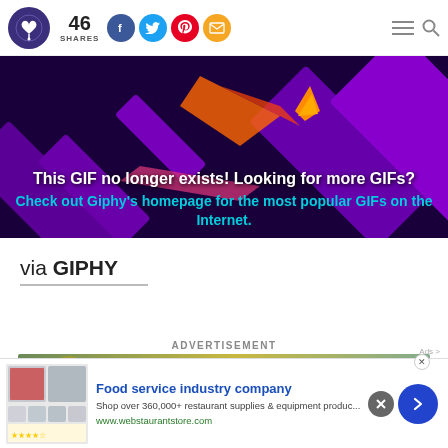46 SHARES [social icons: Facebook, Twitter, Pinterest, Email]
[Figure (screenshot): A dark purple/black background Giphy error banner with geometric shapes, an orange bird graphic, text overlay: 'This GIF no longer exists! Looking for more GIFs? Check out Giphy's homepage for the most popular GIFs on the Internet.']
via GIPHY
ADVERTISEMENT
[Figure (screenshot): Advertisement banner with gold/green circular graphic]
[Figure (screenshot): Bottom ad bar: Food service industry company - Shop over 360,000+ restaurant supplies & equipment produc... www.webstaurantstore.com]